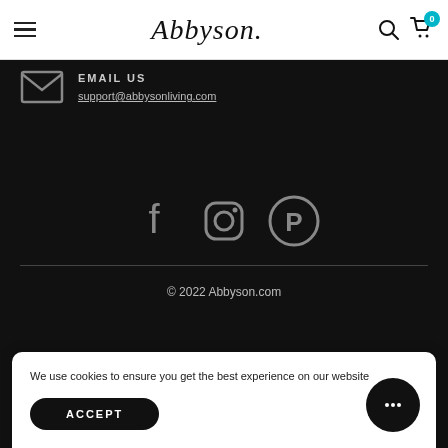Abbyson
EMAIL US
support@abbysonliving.com
[Figure (illustration): Social media icons: Facebook, Instagram, Pinterest]
© 2022 Abbyson.com
We use cookies to ensure you get the best experience on our website
ACCEPT